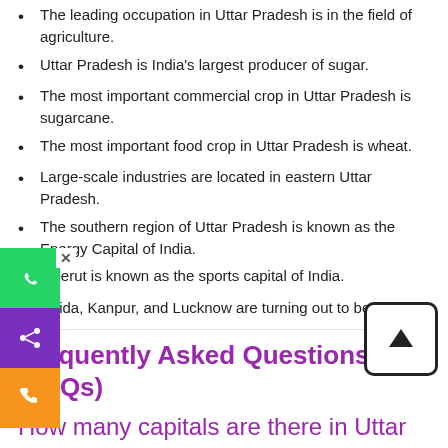The leading occupation in Uttar Pradesh is in the field of agriculture.
Uttar Pradesh is India's largest producer of sugar.
The most important commercial crop in Uttar Pradesh is sugarcane.
The most important food crop in Uttar Pradesh is wheat.
Large-scale industries are located in eastern Uttar Pradesh.
The southern region of Uttar Pradesh is known as the Energy Capital of India.
Meerut is known as the sports capital of India.
Noida, Kanpur, and Lucknow are turning out to be major hubs for Information Technology companies.
Major products manufactured in Uttar Pradesh are railway coaches, wagons, textiles, leather goods, electronic and electrical equipment, engineering products, steel, cables, automobiles, etc.
Frequently Asked Questions (FAQs)
How many capitals are there in Uttar